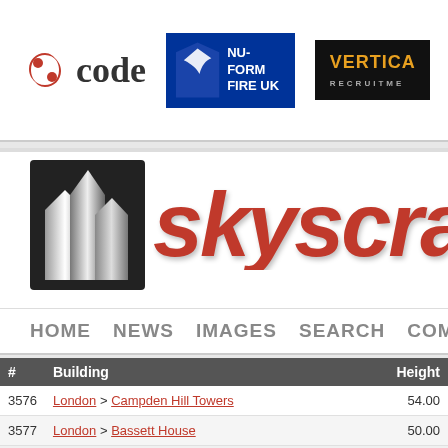[Figure (logo): Code company logo with swirl icon and bold text 'code']
[Figure (logo): Nu-Form Fire UK logo with blue background and eagle emblem]
[Figure (logo): Vertical Recruitment logo on black background]
[Figure (logo): Skyscraper website logo with building icon and red italic text 'skyscra...']
HOME NEWS IMAGES SEARCH COMPA...
| # | Building | Height |
| --- | --- | --- |
| 3576 | London > Campden Hill Towers | 54.00 |
| 3577 | London > Bassett House | 50.00 |